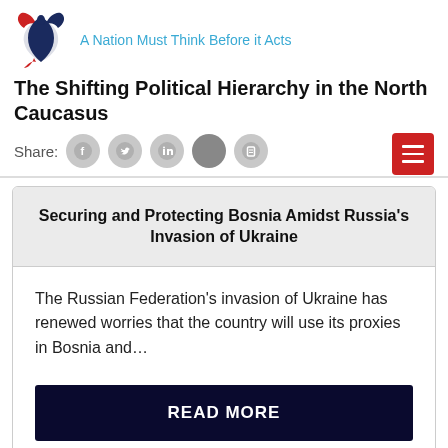A Nation Must Think Before it Acts
The Shifting Political Hierarchy in the North Caucasus
Share:
Securing and Protecting Bosnia Amidst Russia's Invasion of Ukraine
The Russian Federation's invasion of Ukraine has renewed worries that the country will use its proxies in Bosnia and…
READ MORE